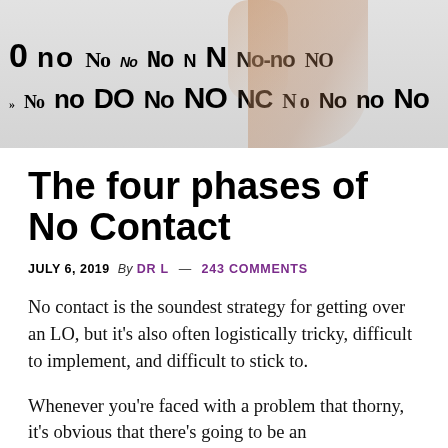[Figure (photo): Header image collage showing various stylized typographic versions of the word 'No' in different fonts and sizes, with a partial image of hands/fingers visible in the background.]
The four phases of No Contact
JULY 6, 2019  By  DR L  —  243 COMMENTS
No contact is the soundest strategy for getting over an LO, but it's also often logistically tricky, difficult to implement, and difficult to stick to.
Whenever you're faced with a problem that thorny, it's obvious that there's going to be an embarrassment of psychological riches. Any time there's self-discipline or behavior f…